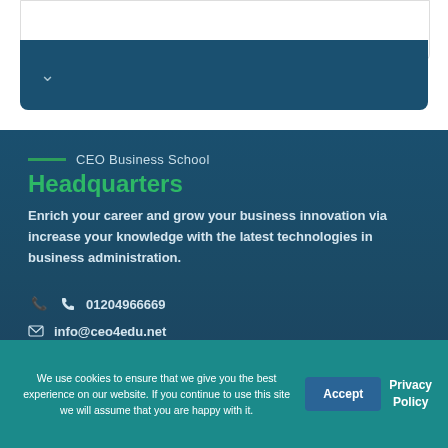[Figure (screenshot): Top card with dark teal background and chevron/dropdown indicator]
— CEO Business School
Headquarters
Enrich your career and grow your business innovation via increase your knowledge with the latest technologies in business administration.
01204966669
info@ceo4edu.net
Customer Services
We use cookies to ensure that we give you the best experience on our website. If you continue to use this site we will assume that you are happy with it.
Accept
Privacy Policy